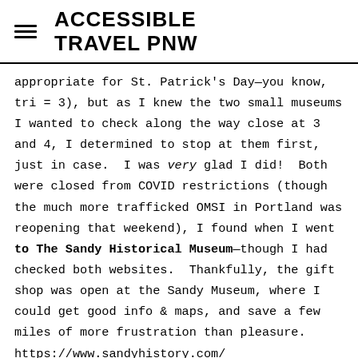ACCESSIBLE TRAVEL PNW
appropriate for St. Patrick's Day—you know, tri = 3), but as I knew the two small museums I wanted to check along the way close at 3 and 4, I determined to stop at them first, just in case.  I was very glad I did!  Both were closed from COVID restrictions (though the much more trafficked OMSI in Portland was reopening that weekend), I found when I went to The Sandy Historical Museum—though I had checked both websites.  Thankfully, the gift shop was open at the Sandy Museum, where I could get good info & maps, and save a few miles of more frustration than pleasure. https://www.sandyhistory.com/